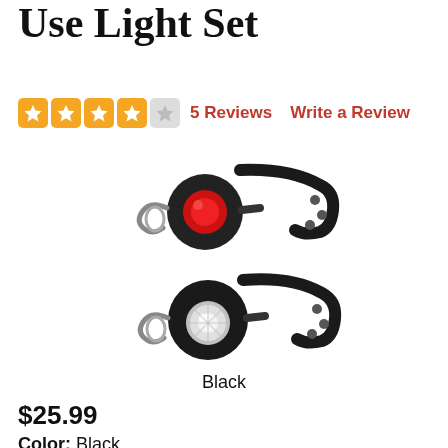Use Light Set
5 Reviews   Write a Review
[Figure (photo): Two black bicycle lights with mounting straps — one with a red lens (rear light) on top and one with a white/clear lens (front light) below. Both have black rubber bracket mounts.]
Black
$25.99
Color:  Black